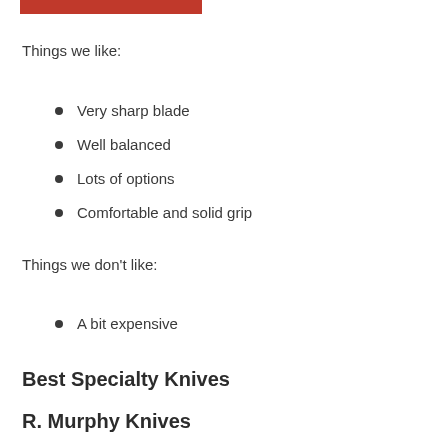[Figure (other): Red horizontal bar decorative element]
Things we like:
Very sharp blade
Well balanced
Lots of options
Comfortable and solid grip
Things we don't like:
A bit expensive
Best Specialty Knives
R. Murphy Knives